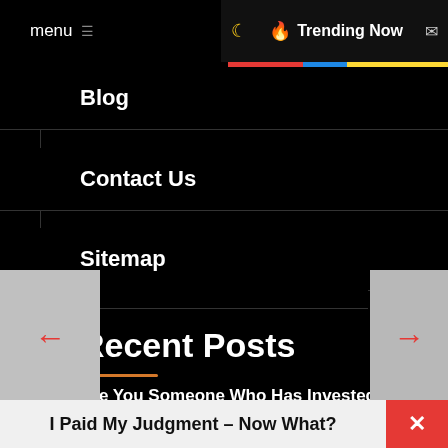menu  ☰  🔥 Trending Now ✉
Blog
Contact Us
Sitemap
Recent Posts
Are You Someone Who Has Invested Money With AvaTrade and Lost It?
Don't Make the Great Estate Mistake
I Paid My Judgment – Now What?